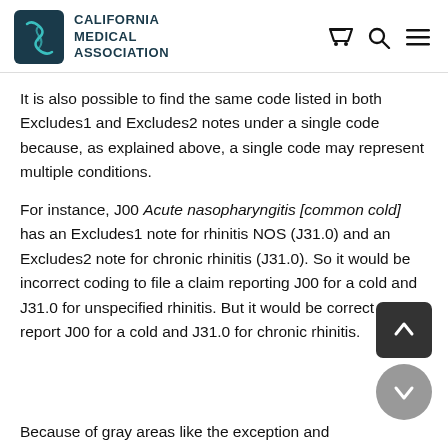CALIFORNIA MEDICAL ASSOCIATION
It is also possible to find the same code listed in both Excludes1 and Excludes2 notes under a single code because, as explained above, a single code may represent multiple conditions.
For instance, J00 Acute nasopharyngitis [common cold] has an Excludes1 note for rhinitis NOS (J31.0) and an Excludes2 note for chronic rhinitis (J31.0). So it would be incorrect coding to file a claim reporting J00 for a cold and J31.0 for unspecified rhinitis. But it would be correct to report J00 for a cold and J31.0 for chronic rhinitis.
Because of gray areas like the exception and